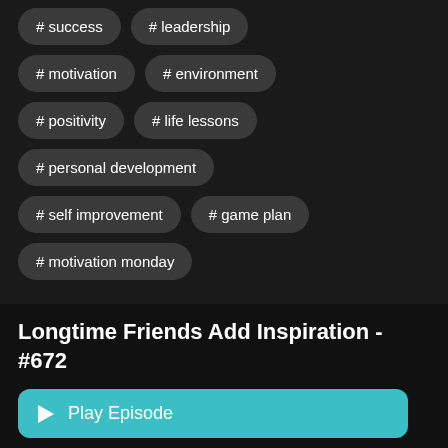# success
# leadership
# motivation
# environment
# positivity
# life lessons
# personal development
# self improvement
# game plan
# motivation monday
Longtime Friends Add Inspiration - #672
Play Episode
Listen Later